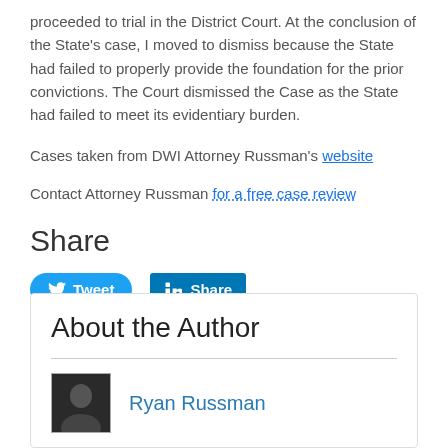proceeded to trial in the District Court. At the conclusion of the State's case, I moved to dismiss because the State had failed to properly provide the foundation for the prior convictions. The Court dismissed the Case as the State had failed to meet its evidentiary burden.
Cases taken from DWI Attorney Russman's website
Contact Attorney Russman for a free case review
Share
[Figure (other): Tweet and LinkedIn Share social media buttons]
About the Author
Ryan Russman